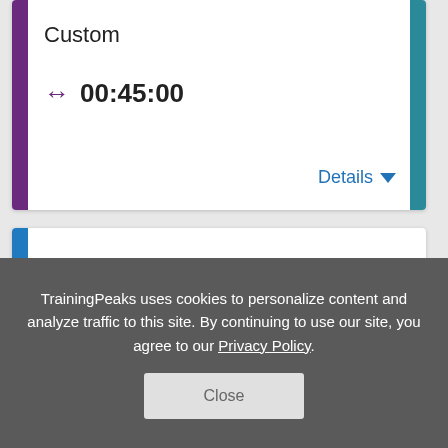Custom
00:45:00
Details
Ladder down
01:15:00
Details
TrainingPeaks uses cookies to personalize content and analyze traffic to this site. By continuing to use our site, you agree to our Privacy Policy.
Close